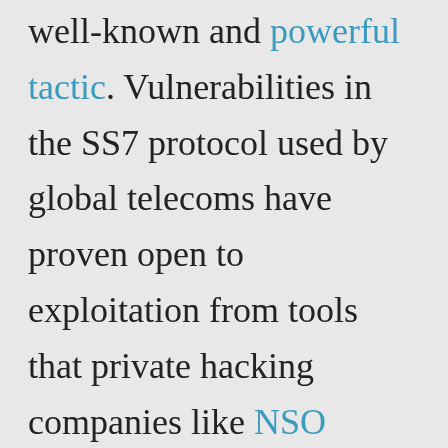well-known and powerful tactic. Vulnerabilities in the SS7 protocol used by global telecoms have proven open to exploitation from tools that private hacking companies like NSO Group sell to governments around the world. Cox's own reporting has shown that you can't trust your cell phone carriers: Phone companies keep and sell location